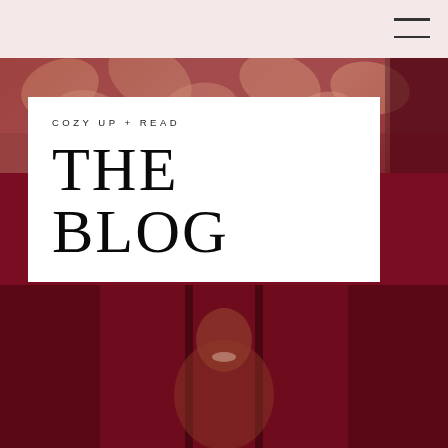COZY UP + READ
THE BLOG
[Figure (photo): Blog header page with dark burgundy/crimson background, a white card overlay containing the blog title, and a partially visible woman smiling in the lower portion of the image. Top area shows floral/peach tones. Navigation bar in blush pink at top with hamburger menu icon.]